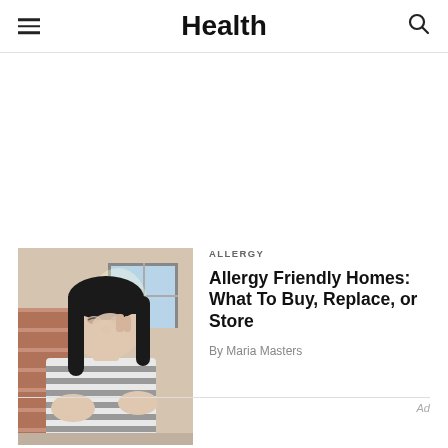Health
[Figure (photo): Woman with long black hair in striped shirt rubbing her eye/nose, standing near a brick wall indoors — illustrating allergy symptoms]
ALLERGY
Allergy Friendly Homes: What To Buy, Replace, or Store
By Maria Masters